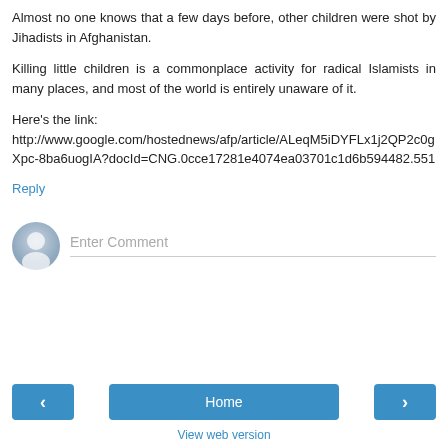Almost no one knows that a few days before, other children were shot by Jihadists in Afghanistan.
Killing little children is a commonplace activity for radical Islamists in many places, and most of the world is entirely unaware of it.
Here's the link:
http://www.google.com/hostednews/afp/article/ALeqM5iDYFLx1j2QP2c0gXpc-8ba6uogIA?docId=CNG.0cce17281e4074ea03701c1d6b594482.551
Reply
Enter Comment
Home
View web version